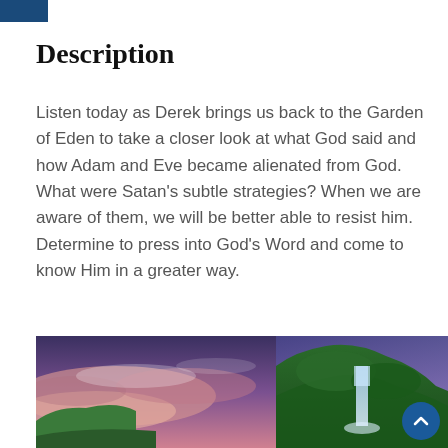Description
Listen today as Derek brings us back to the Garden of Eden to take a closer look at what God said and how Adam and Eve became alienated from God. What were Satan’s subtle strategies? When we are aware of them, we will be better able to resist him. Determine to press into God’s Word and come to know Him in a greater way.
[Figure (photo): A landscape photograph showing a scenic view with a dramatic purple and pink sunset sky on the left, and green cliffs with a waterfall on the right.]